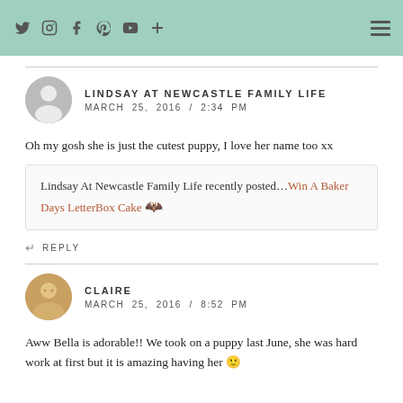Social media icons and navigation
LINDSAY AT NEWCASTLE FAMILY LIFE
MARCH 25, 2016 / 2:34 PM
Oh my gosh she is just the cutest puppy, I love her name too xx
Lindsay At Newcastle Family Life recently posted…Win A Baker Days LetterBox Cake
↵ REPLY
CLAIRE
MARCH 25, 2016 / 8:52 PM
Aww Bella is adorable!! We took on a puppy last June, she was hard work at first but it is amazing having her 🙂